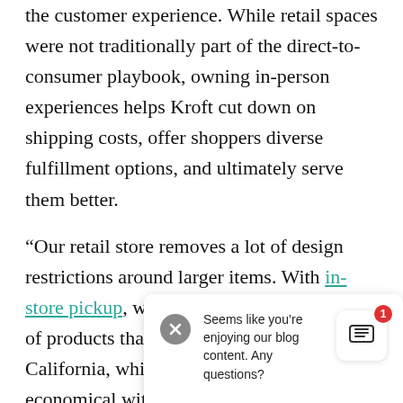the customer experience. While retail spaces were not traditionally part of the direct-to-consumer playbook, owning in-person experiences helps Kroft cut down on shipping costs, offer shoppers diverse fulfillment options, and ultimately serve them better.
“Our retail store removes a lot of design restrictions around larger items. With in-store pickup, we can design and sell a series of products that don’t need to ship to California, which helps us be more economical with our order fulfillment for bigger, higher price point items.”
Seems like you’re enjoying our blog content. Any questions?